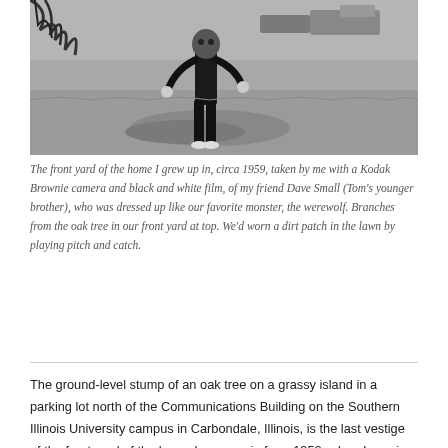[Figure (photo): Black and white photograph of a person dressed up as a werewolf standing in the front yard of a home, circa 1959. The yard has a dirt patch in the lawn. Branches from an oak tree are visible at the top of the image. Cars are partially visible in the background.]
The front yard of the home I grew up in, circa 1959, taken by me with a Kodak Brownie camera and black and white film, of my friend Dave Small (Tom's younger brother), who was dressed up like our favorite monster, the werewolf. Branches from the oak tree in our front yard at top. We'd worn a dirt patch in the lawn by playing pitch and catch.
The ground-level stump of an oak tree on a grassy island in a parking lot north of the Communications Building on the Southern Illinois University campus in Carbondale, Illinois, is the last vestige of the front yard of the home I grew up in from 1952, when I was in diapers, to